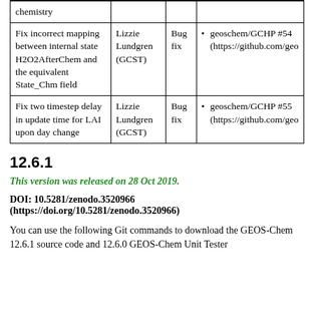| Description | Author | Type | References |
| --- | --- | --- | --- |
| chemistry |  |  |  |
| Fix incorrect mapping between internal state H2O2AfterChem and the equivalent State_Chm field | Lizzie Lundgren (GCST) | Bug fix | geoschem/GCHP #54 (https://github.com/geo…) |
| Fix two timestep delay in update time for LAI upon day change | Lizzie Lundgren (GCST) | Bug fix | geoschem/GCHP #55 (https://github.com/geo…) |
12.6.1
This version was released on 28 Oct 2019.
DOI: 10.5281/zenodo.3520966 (https://doi.org/10.5281/zenodo.3520966)
You can use the following Git commands to download the GEOS-Chem 12.6.1 source code and 12.6.0 GEOS-Chem Unit Tester